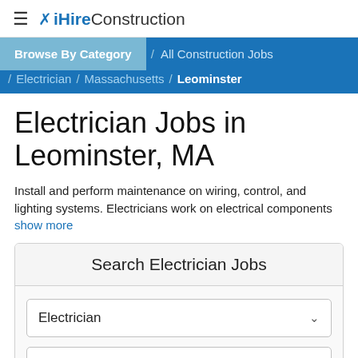≡ iHireConstruction
Browse By Category / All Construction Jobs / Electrician / Massachusetts / Leominster
Electrician Jobs in Leominster, MA
Install and perform maintenance on wiring, control, and lighting systems. Electricians work on electrical components show more
Search Electrician Jobs
Electrician
Leominster, MA